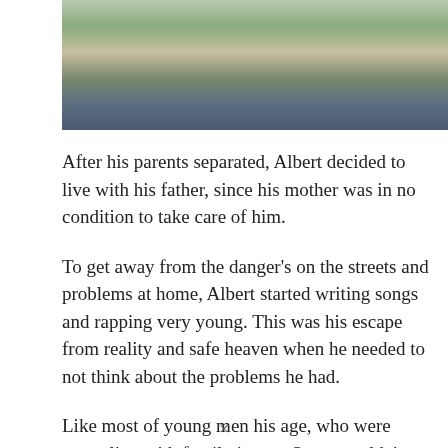[Figure (photo): Partial photo of a person wearing a denim jacket, yellow shirt, and patterned bandana/face covering with a hat, photographed outdoors.]
After his parents separated, Albert decided to live with his father, since his mother was in no condition to take care of him.
To get away from the danger's on the streets and problems at home, Albert started writing songs and rapping very young. This was his escape from reality and safe heaven when he needed to not think about the problems he had.
Like most of young men his age, who were struggling with family issues, Sauca couldn't resist temptations on the streets for too long. In one of his songs, he admitted to
×